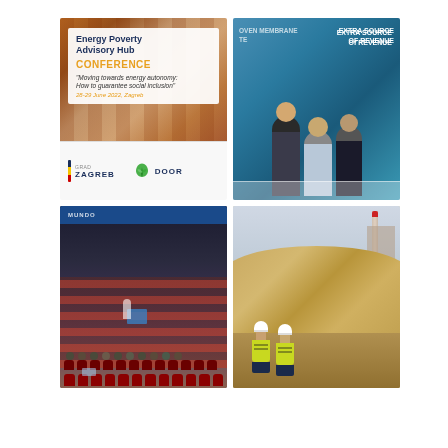[Figure (illustration): Energy Poverty Advisory Hub Conference card with text overlay on brick building background, logos of Zagreb and DOOR below. Text reads: 'Energy Poverty Advisory Hub CONFERENCE - Moving towards energy autonomy: How to guarantee social inclusion? 28-29 June 2022, Zagreb']
[Figure (photo): Three people looking at documents at a conference table, with blue signage in background reading 'EXTRA SOURCE OF REVENUE']
[Figure (photo): Large conference room with audience seated in red chairs facing a stage with blue screen, viewed from the back]
[Figure (photo): Two workers in yellow hi-vis jackets and white hard hats standing in front of a large pile of biomass/woodchip with industrial chimney in background]